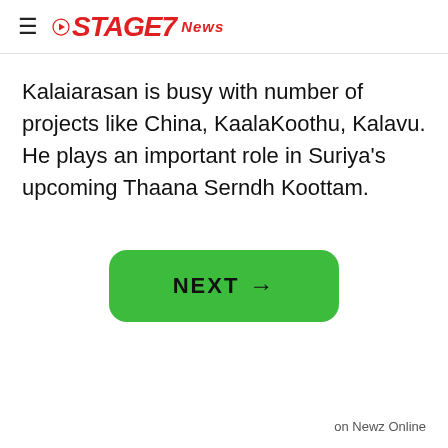≡ STAGE7 News
Kalaiarasan is busy with number of projects like China, KaalaKoothu, Kalavu. He plays an important role in Suriya's upcoming Thaana Serndh Koottam.
[Figure (other): Green NEXT button with arrow]
on Newz Online